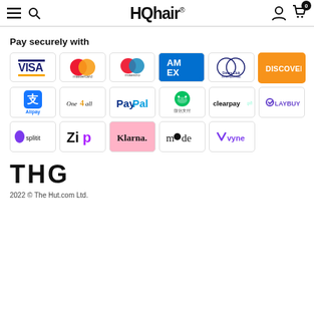HQhair
Pay securely with
[Figure (infographic): Payment method logos: Visa, Mastercard, Maestro, American Express, Diners Club International, Discover, Alipay, One4all, PayPal, WeChat Pay (微信支付), Clearpay, Laybuy, Splitit, Zip, Klarna, Mode, Vyne]
[Figure (logo): THG logo in bold black capital letters]
2022 © The Hut.com Ltd.